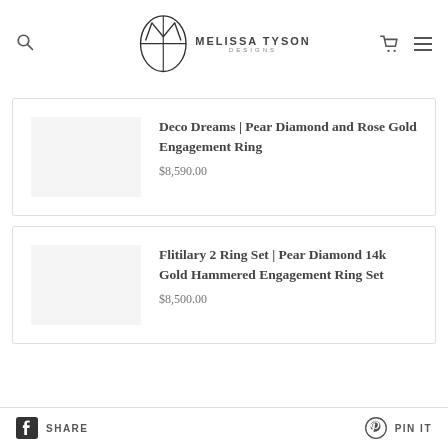Melissa Tyson Designs
Deco Dreams | Pear Diamond and Rose Gold Engagement Ring
$8,590.00
Flitilary 2 Ring Set | Pear Diamond 14k Gold Hammered Engagement Ring Set
$8,500.00
SHARE   PIN IT